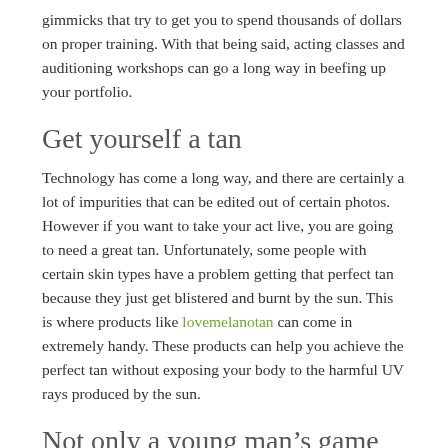gimmicks that try to get you to spend thousands of dollars on proper training. With that being said, acting classes and auditioning workshops can go a long way in beefing up your portfolio.
Get yourself a tan
Technology has come a long way, and there are certainly a lot of impurities that can be edited out of certain photos. However if you want to take your act live, you are going to need a great tan. Unfortunately, some people with certain skin types have a problem getting that perfect tan because they just get blistered and burnt by the sun. This is where products like lovemelanotan can come in extremely handy. These products can help you achieve the perfect tan without exposing your body to the harmful UV rays produced by the sun.
Not only a young man’s game
You don’t have to be a teenager or in your early-20s to land a great male modeling gig. In fact, there is a market for all age ranges. Different brands like to target different generations and they often use a broad spectrum of ages to target older